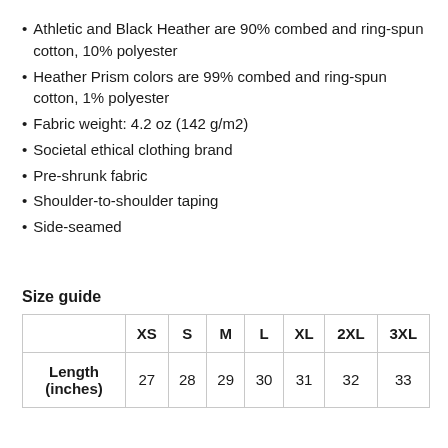Athletic and Black Heather are 90% combed and ring-spun cotton, 10% polyester
Heather Prism colors are 99% combed and ring-spun cotton, 1% polyester
Fabric weight: 4.2 oz (142 g/m2)
Societal ethical clothing brand
Pre-shrunk fabric
Shoulder-to-shoulder taping
Side-seamed
Size guide
|  | XS | S | M | L | XL | 2XL | 3XL |
| --- | --- | --- | --- | --- | --- | --- | --- |
| Length (inches) | 27 | 28 | 29 | 30 | 31 | 32 | 33 |